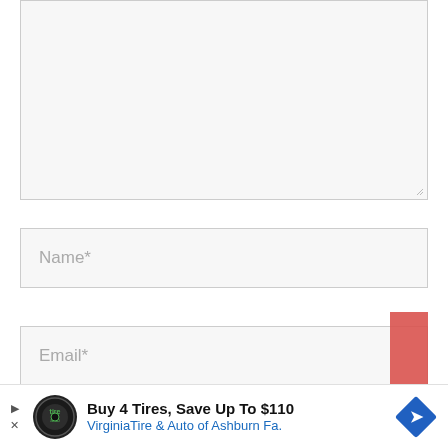[Figure (screenshot): Web form textarea input field (empty, light gray background, resize handle at bottom right)]
Name*
Email*
[Figure (screenshot): Advertisement banner: Buy 4 Tires, Save Up To $110 — VirginiaTire & Auto of Ashburn Fa. with logo and direction arrow icon]